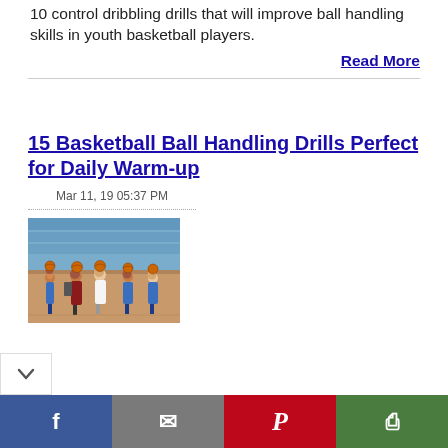10 control dribbling drills that will improve ball handling skills in youth basketball players.
Read More
15 Basketball Ball Handling Drills Perfect for Daily Warm-up
Mar 11, 19 05:37 PM
[Figure (photo): Youth basketball players standing in a gym holding basketballs above their heads during a drill]
Facebook | Email | Pinterest | Print